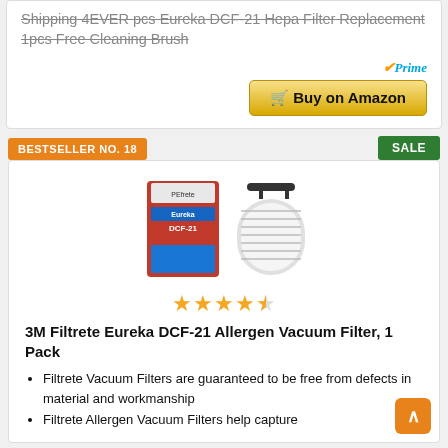Shipping 4EVER pcs Eureka DCF-21 Hepa Filter Replacement 1pcs Free Cleaning Brush
[Figure (illustration): Amazon Prime logo with blue checkmark]
[Figure (other): Buy on Amazon button with shopping cart icon]
BESTSELLER NO. 18
SALE
[Figure (photo): 3M Filtrete Eureka DCF-21 filter product image showing packaging and the cylindrical filter]
[Figure (other): 4.5 out of 5 stars rating]
3M Filtrete Eureka DCF-21 Allergen Vacuum Filter, 1 Pack
Filtrete Vacuum Filters are guaranteed to be free from defects in material and workmanship
Filtrete Allergen Vacuum Filters help capture